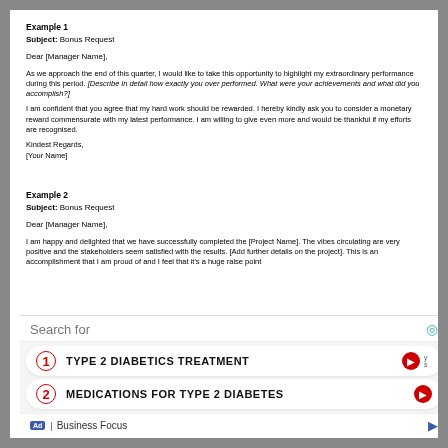Example 1
Subject: Bonus Request
Dear [Manager Name],
As we approach the end of this quarter, I would like to take this opportunity to highlight my extraordinary performance during this period. [Describe in detail how exactly you over performed. What were your achievements and what did you accomplish?]
I am confident that you agree that my hard work should be rewarded. I hereby kindly ask you to consider a monetary reward commensurate with my latest performance. I am willing to give even more and would be thankful if my efforts are recognised.
Kindest Regards,
[Your Name]
Example 2
Subject: Bonus Request
Dear [Manager Name],
I am happy and delighted that we have successfully completed the [Project Name]. The vibes circulating are very positive and the stakeholders seem satisfied with the results. [Add further details on the project]. This is an accomplishment that I am proud of and I feel that it's a huge raise point...
Search for
1  TYPE 2 DIABETICS TREATMENT
2  MEDICATIONS FOR TYPE 2 DIABETES
Ad | Business Focus